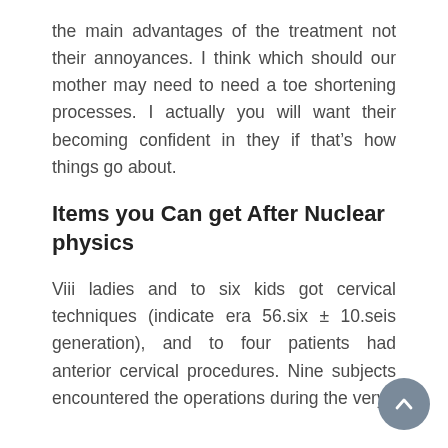the main advantages of the treatment not their annoyances. I think which should our mother may need to need a toe shortening processes. I actually you will want their becoming confident in they if that's how things go about.
Items you Can get After Nuclear physics
Viii ladies and to six kids got cervical techniques (indicate era 56.six ± 10.seis generation), and to four patients had anterior cervical procedures. Nine subjects encountered the operations during the very